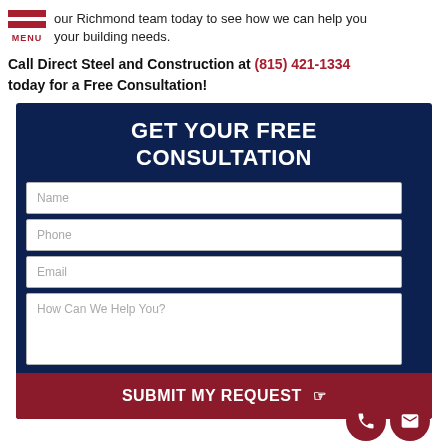our Richmond team today to see how we can help you your building needs.
Call Direct Steel and Construction at (815) 421-1334 today for a Free Consultation!
[Figure (screenshot): Contact form with dark navy background titled GET YOUR FREE CONSULTATION, with input fields for Name, Phone, Email, and How Can We Help You?, and a dark red SUBMIT MY REQUEST button with phone and email icon circles.]